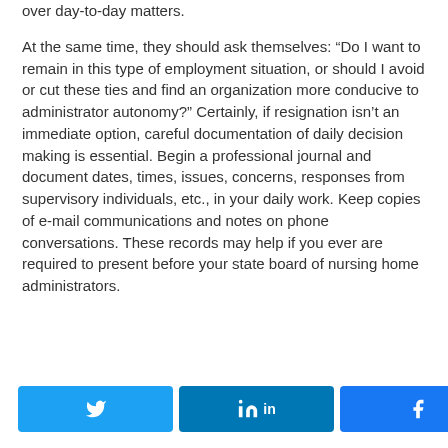over day-to-day matters.
At the same time, they should ask themselves: “Do I want to remain in this type of employment situation, or should I avoid or cut these ties and find an organization more conducive to administrator autonomy?” Certainly, if resignation isn’t an immediate option, careful documentation of daily decision making is essential. Begin a professional journal and document dates, times, issues, concerns, responses from supervisory individuals, etc., in your daily work. Keep copies of e-mail communications and notes on phone conversations. These records may help if you ever are required to present before your state board of nursing home administrators.